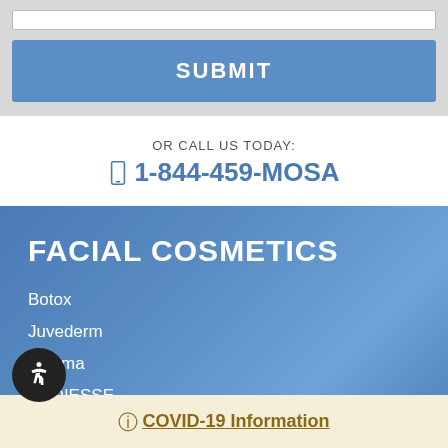SUBMIT
OR CALL US TODAY:
1-844-459-MOSA
FACIAL COSMETICS
Botox
Juvederm
Voluma
RADIESSE
Kybella
COVID-19 Information